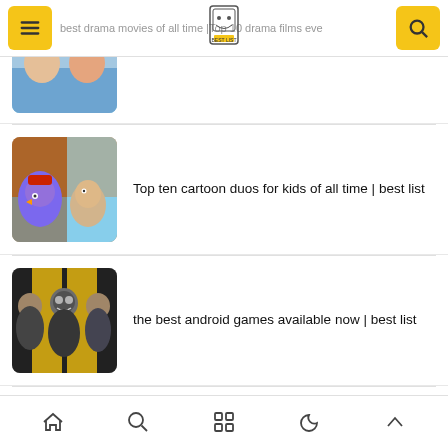best drama movies of all time |Top 10 drama films eve
(partially visible first item)
Top ten cartoon duos for kids of all time | best list
the best android games available now | best list
Best Movies About Alternate Reality | best list
Home, Search, Grid, Moon, Up navigation icons